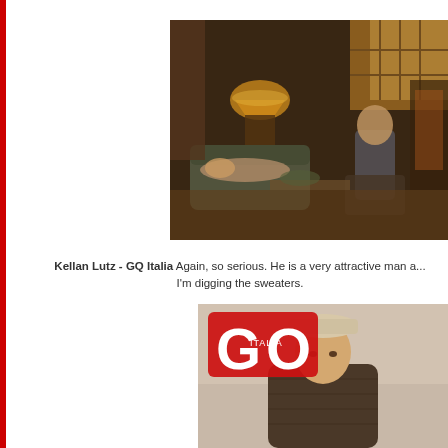[Figure (photo): Indoor photo of a man sitting in a chair in a dimly lit room with lamps, antique furniture, and a woman lying on a couch]
Kellan Lutz - GQ Italia Again, so serious. He is a very attractive man a... I'm digging the sweaters.
[Figure (photo): GQ Italia magazine cover featuring a young man wearing a flat cap and knit sweater, with the red GQ Italia logo overlaid]